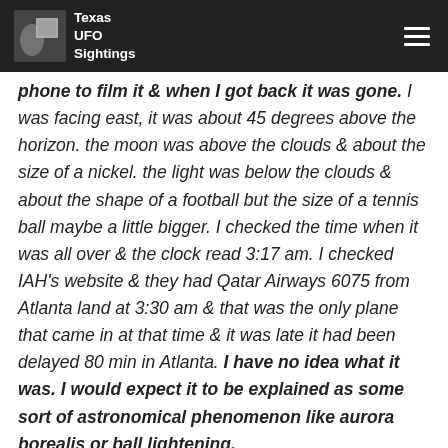Texas UFO Sightings
phone to film it & when I got back it was gone. I was facing east, it was about 45 degrees above the horizon. the moon was above the clouds & about the size of a nickel. the light was below the clouds & about the shape of a football but the size of a tennis ball maybe a little bigger. I checked the time when it was all over & the clock read 3:17 am. I checked IAH's website & they had Qatar Airways 6075 from Atlanta land at 3:30 am & that was the only plane that came in at that time & it was late it had been delayed 80 min in Atlanta. I have no idea what it was. I would expect it to be explained as some sort of astronomical phenomenon like aurora borealis or ball lightening.